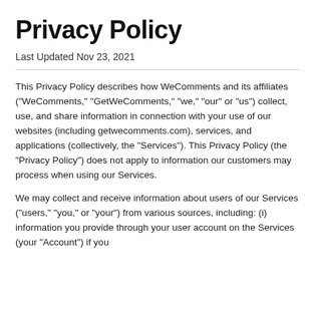Privacy Policy
Last Updated Nov 23, 2021
This Privacy Policy describes how WeComments and its affiliates ("WeComments," "GetWeComments," "we," "our" or "us") collect, use, and share information in connection with your use of our websites (including getwecomments.com), services, and applications (collectively, the "Services"). This Privacy Policy (the "Privacy Policy") does not apply to information our customers may process when using our Services.
We may collect and receive information about users of our Services ("users," "you," or "your") from various sources, including: (i) information you provide through your user account on the Services (your "Account") if you